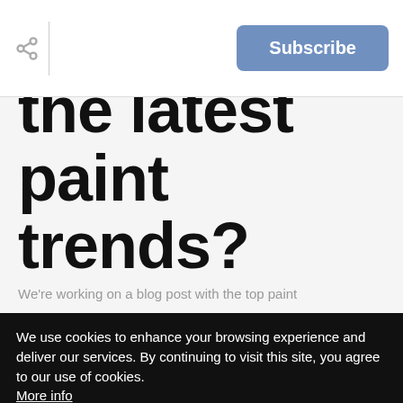Subscribe
want to know the latest paint trends?
We're working on a blog post with the top paint
We use cookies to enhance your browsing experience and deliver our services. By continuing to visit this site, you agree to our use of cookies. More info
OK